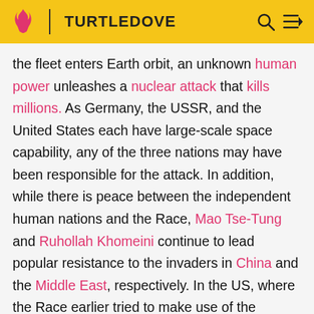TURTLEDOVE
the fleet enters Earth orbit, an unknown human power unleashes a nuclear attack that kills millions. As Germany, the USSR, and the United States each have large-scale space capability, any of the three nations may have been responsible for the attack. In addition, while there is peace between the independent human nations and the Race, Mao Tse-Tung and Ruhollah Khomeini continue to lead popular resistance to the invaders in China and the Middle East, respectively. In the US, where the Race earlier tried to make use of the discriminated Black population's grievances, Martin Luther King leads the Civil Rights Movement.
Meanwhile, the Race colonists, who expected to